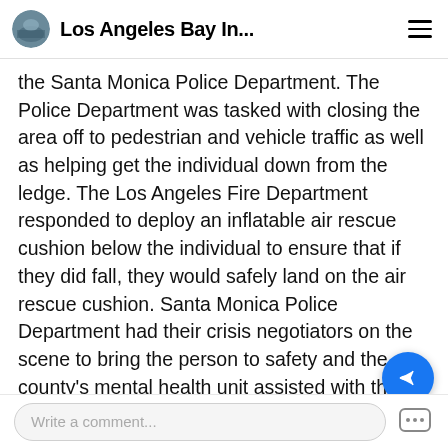Los Angeles Bay In...
the Santa Monica Police Department. The Police Department was tasked with closing the area off to pedestrian and vehicle traffic as well as helping get the individual down from the ledge. The Los Angeles Fire Department responded to deploy an inflatable air rescue cushion below the individual to ensure that if they did fall, they would safely land on the air rescue cushion. Santa Monica Police Department had their crisis negotiators on the scene to bring the person to safety and the county's mental health unit assisted with the situation as well. Eventually, the individual came down from the ledge and was transported to a nearby hospital on a 51-50 h